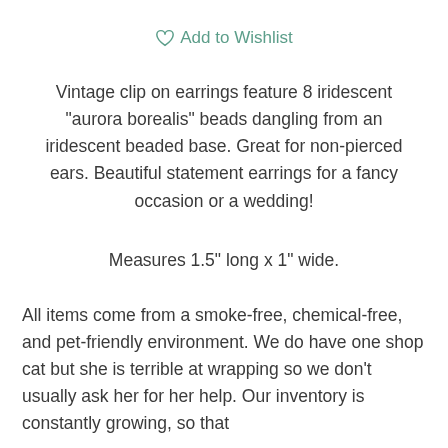♡ Add to Wishlist
Vintage clip on earrings feature 8 iridescent "aurora borealis" beads dangling from an iridescent beaded base. Great for non-pierced ears. Beautiful statement earrings for a fancy occasion or a wedding!
Measures 1.5" long x 1" wide.
All items come from a smoke-free, chemical-free, and pet-friendly environment. We do have one shop cat but she is terrible at wrapping so we don't usually ask her for her help. Our inventory is constantly growing, so that